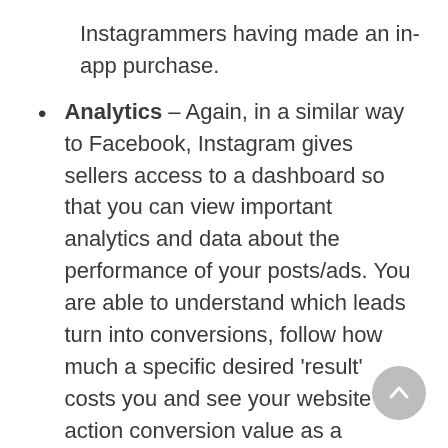Instagrammers having made an in-app purchase.
Analytics – Again, in a similar way to Facebook, Instagram gives sellers access to a dashboard so that you can view important analytics and data about the performance of your posts/ads. You are able to understand which leads turn into conversions, follow how much a specific desired 'result' costs you and see your website action conversion value as a function of the amount you spent on a given campaign. These analytics help you understand which posts and advertising campaigns are profitable and which are not, which require optimization and which need to be maintained.